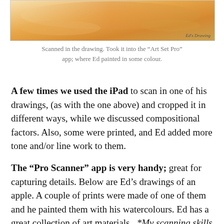[Figure (illustration): Scanned drawing with watercolour painted in, showing warm orange/yellow tones. Label 'Ed's Drawing' in bottom right corner.]
Scanned in the drawing. Took it into the “Art Set Pro” app; where Ed painted in some colour.
A few times we used the iPad to scan in one of his drawings, (as with the one above) and cropped it in different ways, while we discussed compositional factors. Also, some were printed, and Ed added more tone and/or line work to them.
The “Pro Scanner” app is very handy; great for capturing details. Below are Ed’s drawings of an apple. A couple of prints were made of one of them and he painted them with his watercolours. Ed has a great collection of art materials.  *My scanning skills have improved in the last few months since doing